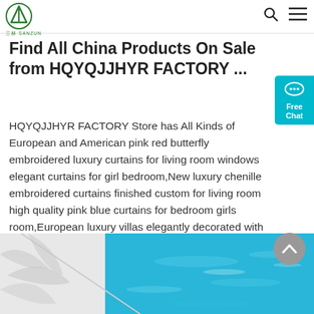SANZUN logo header with search and menu icons
Find All China Products On Sale from HQYQJJHYR FACTORY ...
HQYQJJHYR FACTORY Store has All Kinds of European and American pink red butterfly embroidered luxury curtains for living room windows elegant curtains for girl bedroom,New luxury chenille embroidered curtains finished custom for living room high quality pink blue curtains for bedroom girls room,European luxury villas elegantly decorated with tulle for living room ...
[Figure (other): Get Price orange button]
[Figure (photo): Bottom image showing a pool or water scene with blue water and palm leaf shadows on white surface]